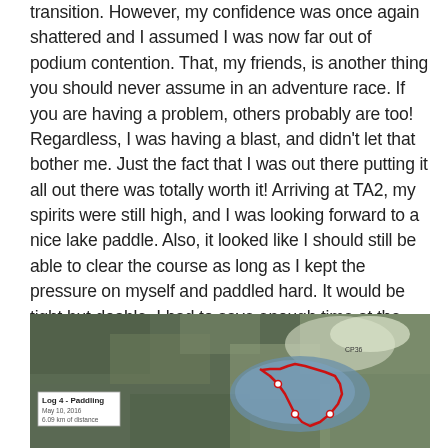transition. However, my confidence was once again shattered and I assumed I was now far out of podium contention. That, my friends, is another thing you should never assume in an adventure race. If you are having a problem, others probably are too! Regardless, I was having a blast, and didn't let that bother me. Just the fact that I was out there putting it all out there was totally worth it! Arriving at TA2, my spirits were still high, and I was looking forward to a nice lake paddle. Also, it looked like I should still be able to clear the course as long as I kept the pressure on myself and paddled hard. It would be tight but doable. I had to save enough time at the end to make the 6k bike back.
[Figure (map): Satellite/aerial map view showing a paddling route (Log 4 - Paddling) marked with a red route line on terrain, with a white label box in the lower left showing 'Log 4 - Paddling' and date/distance information.]